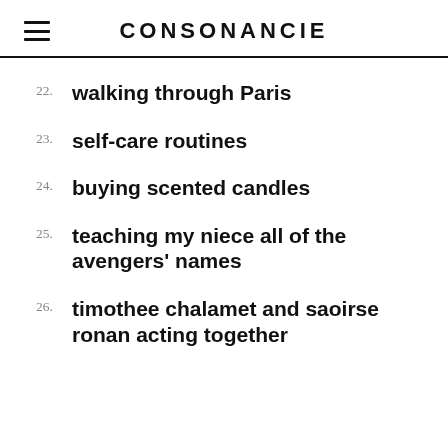CONSONANCIE
22. walking through Paris
23. self-care routines
24. buying scented candles
25. teaching my niece all of the avengers' names
26. timothee chalamet and saoirse ronan acting together